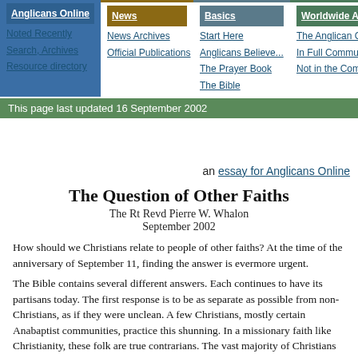Anglicans Online | News | Basics | Worldwide Anglicanism | Anglica... navigation bar with links: Noted Recently, Search Archives, Resource directory, News Archives, Official Publications, Start Here, Anglicans Believe..., The Prayer Book, The Bible, The Anglican Communion, In Full Communion, Not in the Communion, Africa, England, Japan, South A...
This page last updated 16 September 2002
an essay for Anglicans Online
The Question of Other Faiths
The Rt Revd Pierre W. Whalon
September 2002
How should we Christians relate to people of other faiths? At the time of the anniversary of September 11, finding the answer is evermore urgent.
The Bible contains several different answers. Each continues to have its partisans today. The first response is to be as separate as possible from non-Christians, as if they were unclean. A few Christians, mostly certain Anabaptist communities, practice this shunning. In a missionary faith like Christianity, these folk are true contrarians. The vast majority of Christians believe we should relate to others of different faiths by asserting the superiority of our faith over theirs. This is also the preponderant opinion of Scripture—hardly surprising, as it tends to be every faith community's typical approach.